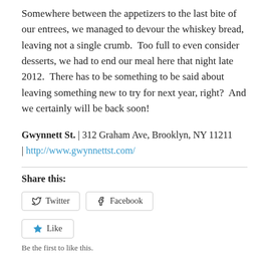Somewhere between the appetizers to the last bite of our entrees, we managed to devour the whiskey bread, leaving not a single crumb.  Too full to even consider desserts, we had to end our meal here that night late 2012.  There has to be something to be said about leaving something new to try for next year, right?  And we certainly will be back soon!
Gwynnett St. | 312 Graham Ave, Brooklyn, NY 11211 | http://www.gwynnettst.com/
Share this:
Twitter  Facebook
Like
Be the first to like this.